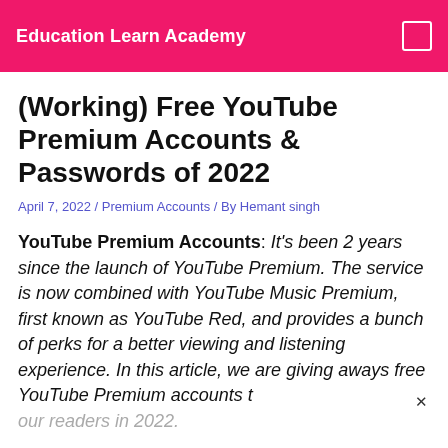Education Learn Academy
(Working) Free YouTube Premium Accounts & Passwords of 2022
April 7, 2022 / Premium Accounts / By Hemant singh
YouTube Premium Accounts: It's been 2 years since the launch of YouTube Premium. The service is now combined with YouTube Music Premium, first known as YouTube Red, and provides a bunch of perks for a better viewing and listening experience. In this article, we are giving aways free YouTube Premium accounts t our readers in 2022.